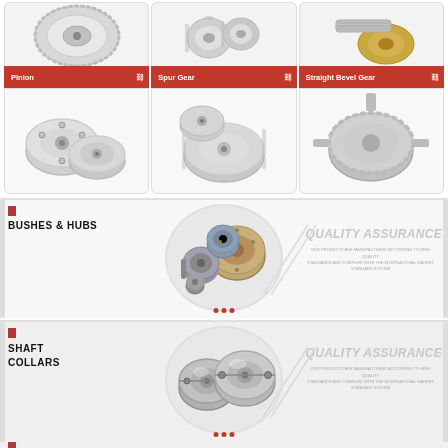[Figure (photo): Pinion gear - silver/aluminum gear component top image]
[Figure (photo): Spur Gear - two timing belt pulleys/spur gears]
[Figure (photo): Straight Bevel Gear - gold/brass worm gear with shaft]
Pinion
Spur Gear
Straight Bevel Gear
[Figure (photo): Pinion lower image - silver flanged disk components]
[Figure (photo): Spur Gear lower image - multiple timing belt pulleys]
[Figure (photo): Straight Bevel Gear lower image - complex gear assembly]
BUSHES & HUBS
[Figure (photo): Bushes and hubs - various cylindrical locking hubs and bushings in circle frame]
QUALITY ASSURANCE
OUR PRODUCTS ARE MANUFACTURED ACCORDING TO HIGH QUALITY STANDARDS AND COMPLIED WITH THE INTERNATIONAL MARKET STANDARD SYSTEM
SHAFT
COLLARS
[Figure (photo): Shaft collars - two split ring shaft collars in circle frame]
QUALITY ASSURANCE
OUR PRODUCTS ARE MANUFACTURED ACCORDING TO HIGH QUALITY STANDARDS AND COMPLIED WITH THE INTERNATIONAL MARKET STANDARD SYSTEM